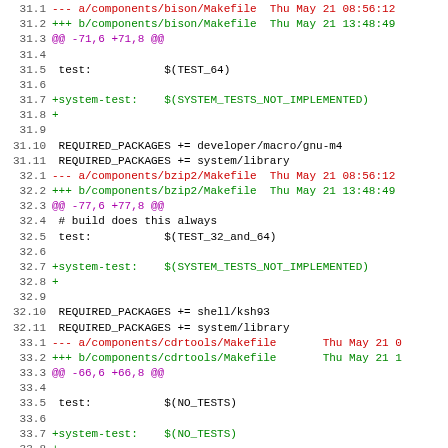[Figure (screenshot): Unified diff output showing changes to Makefiles for bison, bzip2, and cdrtools components. Lines with line numbers, colored for diff context: red for removed lines, green for added lines, purple for hunk headers, black for context lines.]